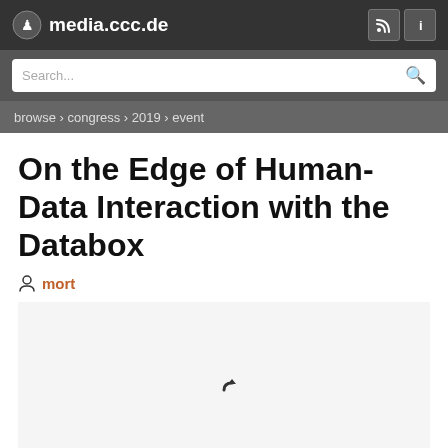media.ccc.de
browse › congress › 2019 › event
On the Edge of Human-Data Interaction with the Databox
mort
[Figure (other): Video player area with loading spinner and grey control bar at the bottom]